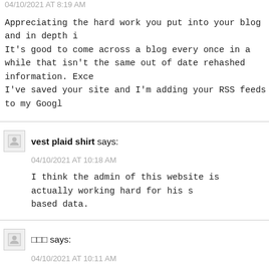04/10/2021 AT 8:19 AM
Appreciating the hard work you put into your blog and in depth i... It's good to come across a blog every once in a while that isn't the same out of date rehashed information. Exce... I've saved your site and I'm adding your RSS feeds to my Googl...
vest plaid shirt says:
04/10/2021 AT 10:18 AM
I think the admin of this website is actually working hard for his s... based data.
□□□ says:
04/10/2021 AT 10:11 AM